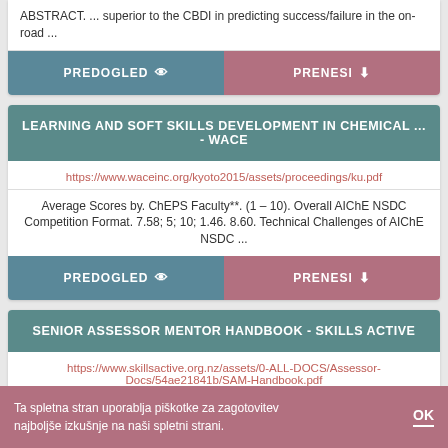ABSTRACT. ... superior to the CBDI in predicting success/failure in the on-road ...
[Figure (screenshot): PREDOGLED and PRENESI buttons row]
LEARNING AND SOFT SKILLS DEVELOPMENT IN CHEMICAL ... - WACE
https://www.waceinc.org/kyoto2015/assets/proceedings/ku.pdf
Average Scores by. ChEPS Faculty**. (1 – 10). Overall AIChE NSDC Competition Format. 7.58; 5; 10; 1.46. 8.60. Technical Challenges of AIChE NSDC ...
[Figure (screenshot): PREDOGLED and PRENESI buttons row]
SENIOR ASSESSOR MENTOR HANDBOOK - SKILLS ACTIVE
https://www.skillsactive.org.nz/assets/0-ALL-DOCS/Assessor-Docs/54ae21841b/SAM-Handbook.pdf
Ta spletna stran uporablja piškotke za zagotovitev najboljše izkušnje na naši spletni strani.